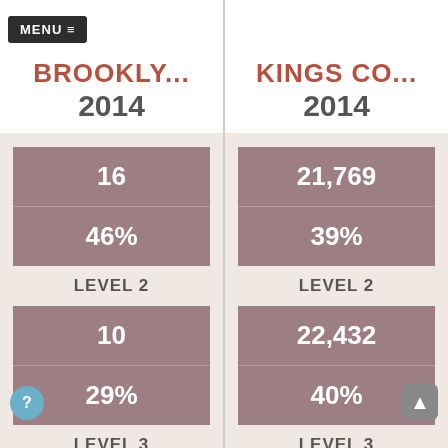MENU ≡
BROOKLY...
2014
| Level | Count | Percent |
| --- | --- | --- |
| Level 2 | 16 | 46% |
| Level 3 | 10 | 29% |
KINGS CO...
2014
| Level | Count | Percent |
| --- | --- | --- |
| Level 2 | 21,769 | 39% |
| Level 3 | 22,432 | 40% |